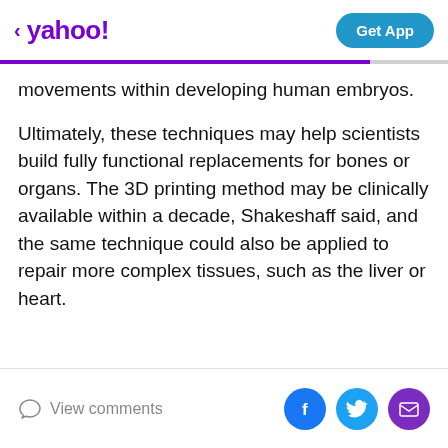< yahoo! | Get App
movements within developing human embryos.
Ultimately, these techniques may help scientists build fully functional replacements for bones or organs. The 3D printing method may be clinically available within a decade, Shakeshaff said, and the same technique could also be applied to repair more complex tissues, such as the liver or heart.
View comments | Facebook | Twitter | Mail